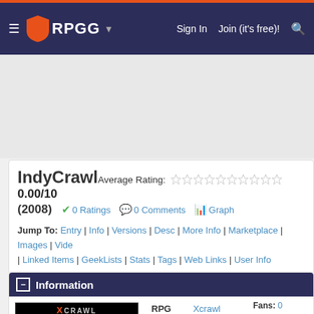RPGG | Sign In | Join (it's free)!
IndyCrawl Average Rating: 0.00/10 (2008)
0 Ratings | 0 Comments | Graph
Jump To: Entry | Info | Versions | Desc | More Info | Marketplace | Images | Vide | Linked Items | GeekLists | Stats | Tags | Web Links | User Info
Information
|  |  |  |
| --- | --- | --- |
| RPG | Xcrawl d20 System | Fans: 0 |
| Genre | Fantasy (Modern Urban Fantasy) | Become Fan |
| Setting | Xcrawl Dungeon Crawl | Correct |